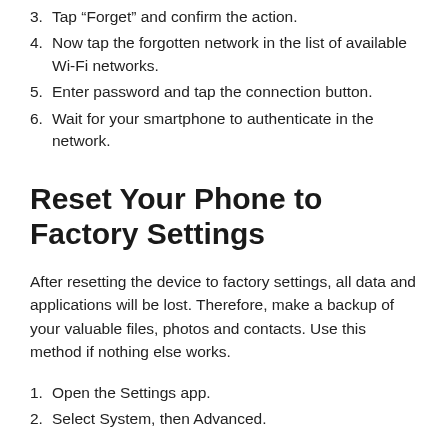3. Tap “Forget” and confirm the action.
4. Now tap the forgotten network in the list of available Wi-Fi networks.
5. Enter password and tap the connection button.
6. Wait for your smartphone to authenticate in the network.
Reset Your Phone to Factory Settings
After resetting the device to factory settings, all data and applications will be lost. Therefore, make a backup of your valuable files, photos and contacts. Use this method if nothing else works.
1. Open the Settings app.
2. Select System, then Advanced.